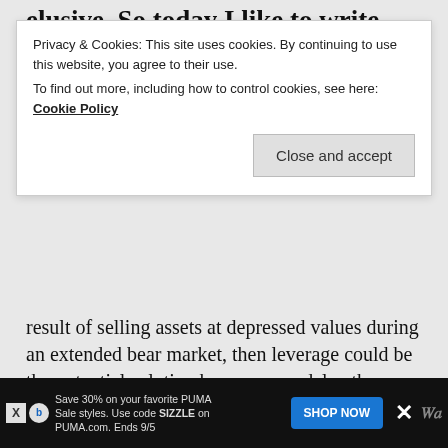elusive. So today I like to write about another
Privacy & Cookies: This site uses cookies. By continuing to use this website, you agree to their use. To find out more, including how to control cookies, see here: Cookie Policy
result of selling assets at depressed values during an extended bear market, then leverage could be the potential solution because you delay the liquidation of assets until you find a more opportune time. And since the market has always gone up over a long enough investing window (e.g., 30+ years), you might be able to avoid running out of money. Sweet!
Using margin loans to fund your cash flow needs certainly sounds scary, but it’s quite common a...
Save 30% on your favorite PUMA Sale styles. Use code SIZZLE on PUMA.com. Ends 9/5   SHOP NOW